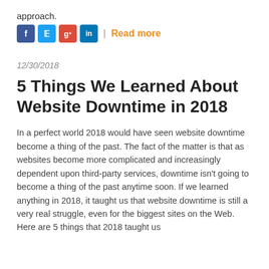approach.
[Figure (other): Social media share icons (Facebook, Twitter, Google+, LinkedIn) followed by a Read more link]
12/30/2018
5 Things We Learned About Website Downtime in 2018
In a perfect world 2018 would have seen website downtime become a thing of the past. The fact of the matter is that as websites become more complicated and increasingly dependent upon third-party services, downtime isn't going to become a thing of the past anytime soon. If we learned anything in 2018, it taught us that website downtime is still a very real struggle, even for the biggest sites on the Web. Here are 5 things that 2018 taught us